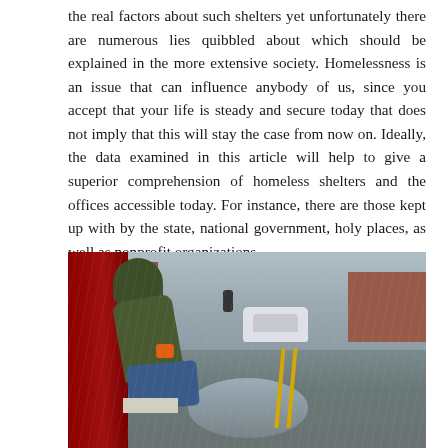the real factors about such shelters yet unfortunately there are numerous lies quibbled about which should be explained in the more extensive society. Homelessness is an issue that can influence anybody of us, since you accept that your life is steady and secure today that does not imply that this will stay the case from now on. Ideally, the data examined in this article will help to give a superior comprehension of homeless shelters and the offices accessible today. For instance, there are those kept up with by the state, national government, holy places, as well as nonprofit organizations.
[Figure (photo): A person in a green hoodie sitting on wet pavement against a dark red door/wall, on a rainy urban street. Cars and pedestrians visible in the background, brick buildings in the distance.]